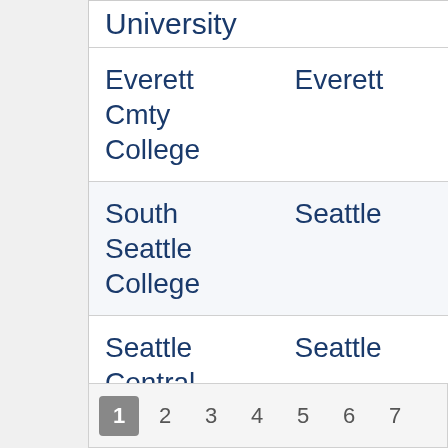| Institution | City |
| --- | --- |
| University |  |
| Everett Cmty College | Everett |
| South Seattle College | Seattle |
| Seattle Central College | Seattle |
| Whatcom Community Cl | Bellingham |
1  2  3  4  5  6  7